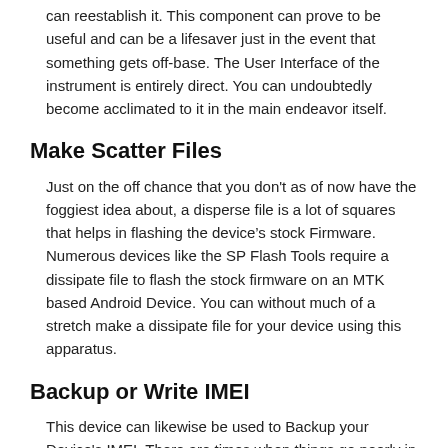can reestablish it. This component can prove to be useful and can be a lifesaver just in the event that something gets off-base. The User Interface of the instrument is entirely direct. You can undoubtedly become acclimated to it in the main endeavor itself.
Make Scatter Files
Just on the off chance that you don't as of now have the foggiest idea about, a disperse file is a lot of squares that helps in flashing the device's stock Firmware. Numerous devices like the SP Flash Tools require a dissipate file to flash the stock firmware on an MTK based Android Device. You can without much of a stretch make a dissipate file for your device using this apparatus.
Backup or Write IMEI
This device can likewise be used to Backup your Device's IMEI. There are times when things go poorly in the wake of rooting your Android Device and can